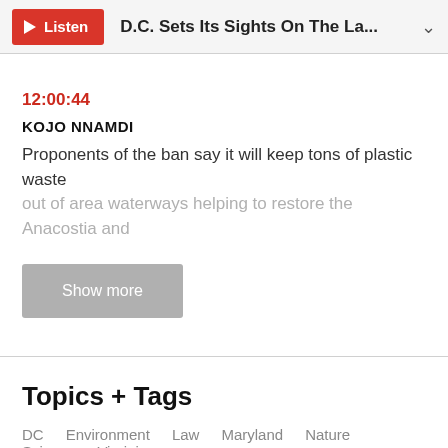Listen   D.C. Sets Its Sights On The La...
12:00:44
KOJO NNAMDI
Proponents of the ban say it will keep tons of plastic waste out of area waterways helping to restore the Anacostia and
Show more
Topics + Tags
DC
Environment
Law
Maryland
Nature
Science
Virginia